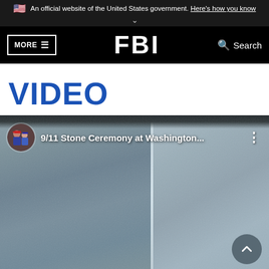An official website of the United States government. Here's how you know
FBI — MORE Search
VIDEO
[Figure (screenshot): YouTube-style video thumbnail showing a 9/11 Stone Ceremony at Washington with two stone panels visible, a channel avatar with two people, and video title overlay text reading '9/11 Stone Ceremony at Washington...' with a scroll-to-top button in the bottom right corner.]